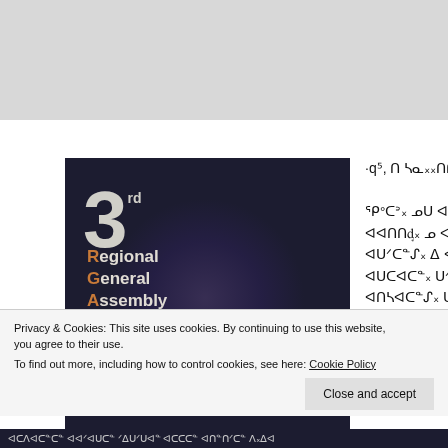[Figure (photo): Dark navy book cover showing '3rd Regional General Assembly' with a map silhouette and Indigenous syllabics text in copper/orange color]
·q⁵, ᑎ ᓴᓇᐦᑎᑎᣟᣟ ᕿ° ᑎᕐᐁx
ᕿ°ᑕᐣ᙮ ᓄᑌ ᐊᐊᓐᑎᑐᐣᐧ ᐊᐊᕑᑎ ᐃ ᐊᐊᑎᑎᶁ᙮ ᓄ ᐊᐊᑎᑎᓱᐣ᙮ ᑌᓗᐦᑕᓐ᙮ ᐅᑕ ᐊᑎᓴᐊᑕᓐ᙮
ᐊᑌᐟᑕᓐᔑ᙮ ᑌᐟᐸᑕᓐᔑ᙮ ᑌᐟᐊᑕᓐ᙮ ᑌᐟᐃᑕᓐ᙮
ᐊᑌᐟᑕᓐᔑ᙮ ᑌᐟᐊᑕᓐ᙮ ᑌᐟᐃᑕᓐ᙮ ᑌᐟᑌᑕᓐ᙮ ᐅᑕ ᐊᑎᓴᐊᑕᓐ᙮
ᑌᐟᐊᑕᓐᔑ᙮ ᑌᐟᐃᑕᓐ᙮ ᑌᐟᑌᑕᓐ᙮ ᐅᑕ ᐊᑎᓴᐊᑕᓐ᙮
ᐊᑌᐟᑕᓐᔑ᙮ ᑌᐟᐊᑕᓐ᙮ ᑌᐟᐃᑕᓐ᙮ ᑌᐟᑌᑕᓐ᙮ ᐅᑕ ᐊᑎᓴᐊᑕᓐ᙮
Privacy & Cookies: This site uses cookies. By continuing to use this website, you agree to their use.
To find out more, including how to control cookies, see here: Cookie Policy
Close and accept
ᐊᑕᐱᐊᑕᓐᑕᓐ ᐊᐊᐟᐊᑌᑕᓐ ᐟᐃᑌᐟᑌᐊᓐ ᐊᑕᑕᑕᓐ ᐊᑎᓐᑎᐟᑕᓐ ᐱ᙮ᐃᐊ